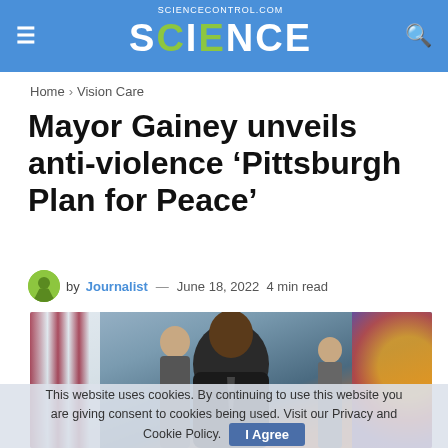SCIENCE (sciencecontrol.com) — navigation header with hamburger menu and search icon
Home > Vision Care
Mayor Gainey unveils anti-violence ‘Pittsburgh Plan for Peace’
by Journalist — June 18, 2022  4 min read
[Figure (photo): Photo of Mayor Gainey speaking at a podium outdoors, with an American flag and colorful mural in the background, other officials visible behind him]
This website uses cookies. By continuing to use this website you are giving consent to cookies being used. Visit our Privacy and Cookie Policy.  I Agree